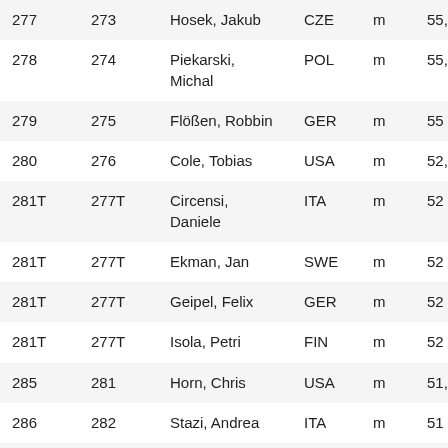| 277 | 273 | Hosek, Jakub | CZE | m | 55,2 |
| 278 | 274 | Piekarski, Michal | POL | m | 55,1 |
| 279 | 275 | Flößen, Robbin | GER | m | 55 |
| 280 | 276 | Cole, Tobias | USA | m | 52,95 |
| 281T | 277T | Circensi, Daniele | ITA | m | 52 |
| 281T | 277T | Ekman, Jan | SWE | m | 52 |
| 281T | 277T | Geipel, Felix | GER | m | 52 |
| 281T | 277T | Isola, Petri | FIN | m | 52 |
| 285 | 281 | Horn, Chris | USA | m | 51,5 |
| 286 | 282 | Stazi, Andrea | ITA | m | 51 |
| 287T | 283T | Katahara... | JPN | m | 50 |